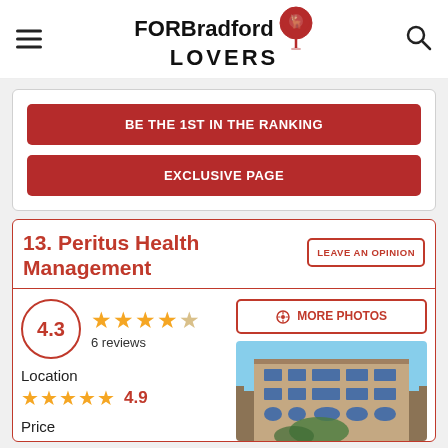FOR Bradford LOVERS
BE THE 1ST IN THE RANKING
EXCLUSIVE PAGE
13. Peritus Health Management
LEAVE AN OPINION
4.3 ★★★★☆ 6 reviews
Location ★★★★★ 4.9
Price
MORE PHOTOS
[Figure (photo): Exterior photo of a stone building (Peritus Health Management), multi-storey with windows, blue sky background]